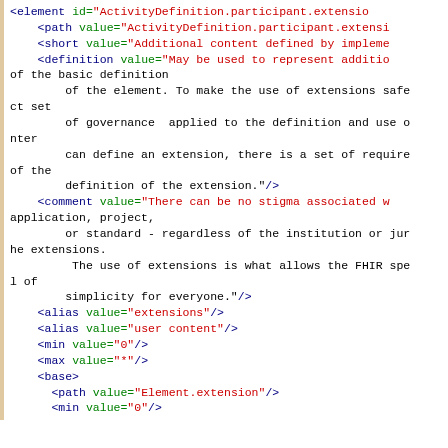XML/FHIR code snippet showing ActivityDefinition.participant.extension element definition with path, short, definition, comment, alias, min, max, base elements